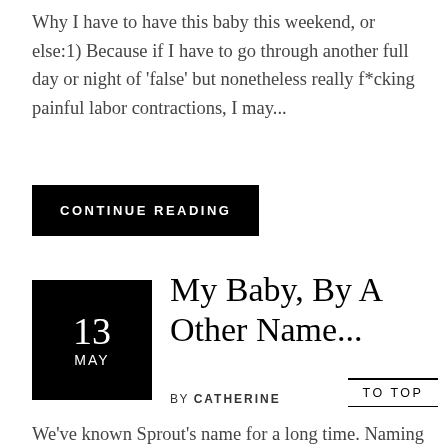Why I have to have this baby this weekend, or else:1) Because if I have to go through another full day or night of 'false' but nonetheless really f*cking painful labor contractions, I may...
CONTINUE READING
13 MAY
My Baby, By A Other Name...
BY CATHERINE
TO TOP
We've known Sprout's name for a long time. Naming him, in fact, was one of the easier